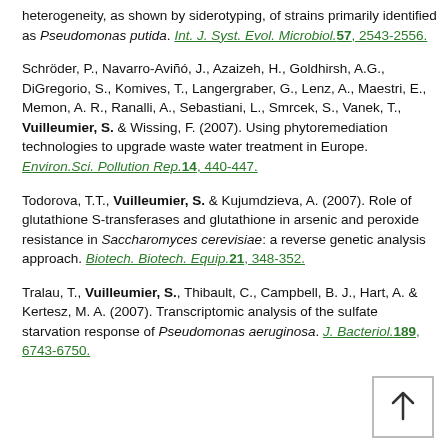heterogeneity, as shown by siderotyping, of strains primarily identified as Pseudomonas putida. Int. J. Syst. Evol. Microbiol.57, 2543-2556.
Schröder, P., Navarro-Aviñó, J., Azaizeh, H., Goldhirsh, A.G., DiGregorio, S., Komives, T., Langergraber, G., Lenz, A., Maestri, E., Memon, A. R., Ranalli, A., Sebastiani, L., Smrcek, S., Vanek, T., Vuilleumier, S. & Wissing, F. (2007). Using phytoremediation technologies to upgrade waste water treatment in Europe. Environ.Sci. Pollution Rep.14, 440-447.
Todorova, T.T., Vuilleumier, S. & Kujumdzieva, A. (2007). Role of glutathione S-transferases and glutathione in arsenic and peroxide resistance in Saccharomyces cerevisiae: a reverse genetic analysis approach. Biotech. Biotech. Equip.21, 348-352.
Tralau, T., Vuilleumier, S., Thibault, C., Campbell, B. J., Hart, A. & Kertesz, M. A. (2007). Transcriptomic analysis of the sulfate starvation response of Pseudomonas aeruginosa. J. Bacteriol.189, 6743-6750.